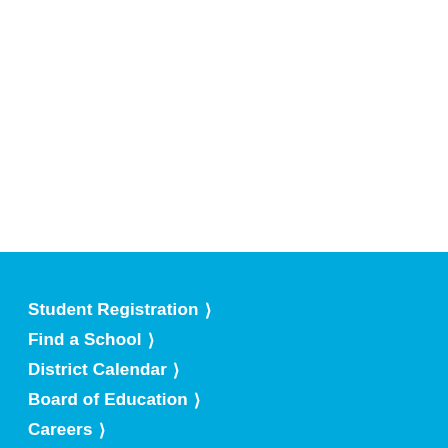[Figure (other): White blank upper section of a school district webpage]
Student Registration ›
Find a School ›
District Calendar ›
Board of Education ›
Careers ›